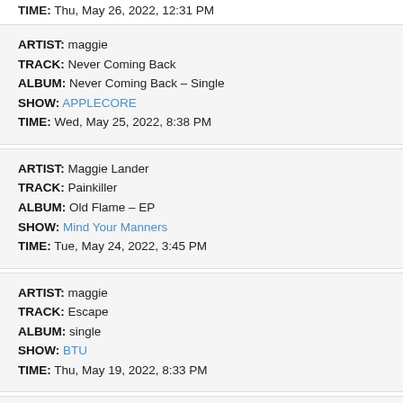TIME: Thu, May 26, 2022, 12:31 PM
ARTIST: maggie | TRACK: Never Coming Back | ALBUM: Never Coming Back – Single | SHOW: APPLECORE | TIME: Wed, May 25, 2022, 8:38 PM
ARTIST: Maggie Lander | TRACK: Painkiller | ALBUM: Old Flame – EP | SHOW: Mind Your Manners | TIME: Tue, May 24, 2022, 3:45 PM
ARTIST: maggie | TRACK: Escape | ALBUM: single | SHOW: BTU | TIME: Thu, May 19, 2022, 8:33 PM
ARTIST: maggie | TRACK: Never Coming Back